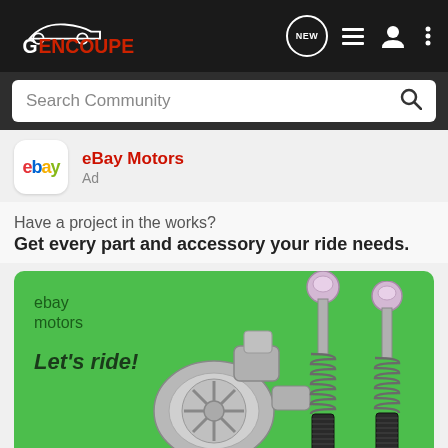[Figure (logo): Gencoupe logo — white car silhouette with G and GENCOUPE text in white and red on dark background]
Search Community
eBay Motors
Ad
Have a project in the works?
Get every part and accessory your ride needs.
[Figure (illustration): eBay Motors advertisement on green background showing turbo charger and two shock absorbers with text 'ebay motors' and 'Let's ride!']